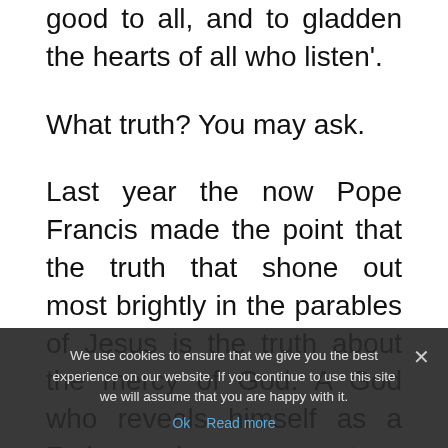good to all, and to gladden the hearts of all who listen'.
What truth? You may ask.
Last year the now Pope Francis made the point that the truth that shone out most brightly in the parables of Jesus is the truth about the mercy of God. A God who reveals himself as a Father who never stops hoping that his son – no matter how prodigal he has been – will, one day come to his senses and come home. We are to preach the truth at all times with the compassionate heart of the Good Shepherd – ready to leave the 99 to find the lost and carry it home on our shoulders.
We use cookies to ensure that we give you the best experience on our website. If you continue to use this site we will assume that you are happy with it.